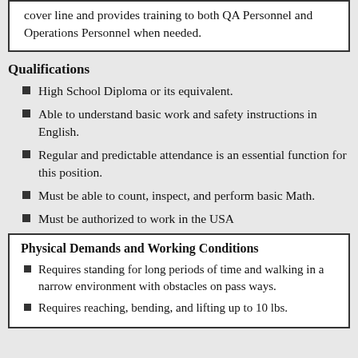cover line and provides training to both QA Personnel and Operations Personnel when needed.
Qualifications
High School Diploma or its equivalent.
Able to understand basic work and safety instructions in English.
Regular and predictable attendance is an essential function for this position.
Must be able to count, inspect, and perform basic Math.
Must be authorized to work in the USA
Physical Demands and Working Conditions
Requires standing for long periods of time and walking in a narrow environment with obstacles on pass ways.
Requires reaching, bending, and lifting up to 10 lbs.